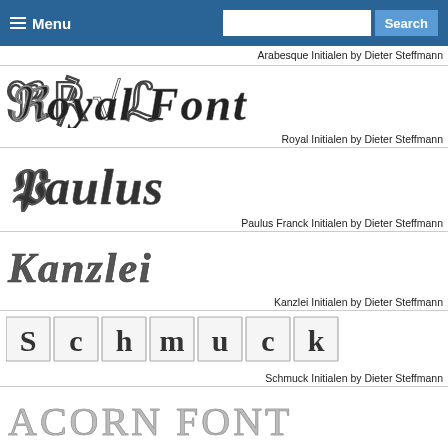Menu | Search
Arabesque Initialen by Dieter Steffmann
[Figure (illustration): Decorative blackletter font sample showing 'ROYAL FONT' in ornate Gothic/blackletter style]
Royal Initialen by Dieter Steffmann
[Figure (illustration): Decorative ornate font sample showing 'PAULUS' in highly decorated medieval initial style]
Paulus Franck Initialen by Dieter Steffmann
[Figure (illustration): Decorative font sample showing 'KANZLEI' in textured blackletter Kanzlei style]
Kanzlei Initialen by Dieter Steffmann
[Figure (illustration): Decorative font sample showing 'SCHMUCK' in ornate square-framed initial style]
Schmuck Initialen by Dieter Steffmann
[Figure (illustration): Decorative font sample showing 'ACORN FONT' in light ornamental style]
Acorn Initials by Dieter Steffmann
[Figure (illustration): Decorative font sample showing 'VICTORIAN' in ornate Victorian blackletter style]
Victorian Initials One by Dieter Steffmann